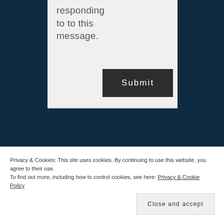responding to to this message.
Submit
Privacy & Cookies: This site uses cookies. By continuing to use this website, you agree to their use.
To find out more, including how to control cookies, see here: Privacy & Cookie Policy
Close and accept